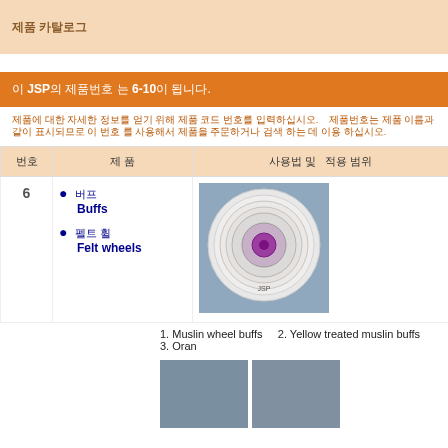제품 카탈로그
이 JSP의 제품번호 는 6-10이 됩니다.
제품에 대한 자세한 정보를 얻기 위해 제품 코드 번호를 입력하십시오. 제품번호는 제품 이름과 같이 표시되므로 이 번호 를 사용해서 제품을 주문하거나 검색 하는 데 이용 하십시오.
| 번호 | 제 품 | 사용법 및 적용 범위 |
| --- | --- | --- |
| 6 | 버프
Buffs
펠트 휠
Felt wheels | [이미지] muslin wheel buff
1. Muslin wheel buffs  2. Yellow treated muslin buffs  3. Oran... |
1. Muslin wheel buffs   2. Yellow treated muslin buffs   3. Oran